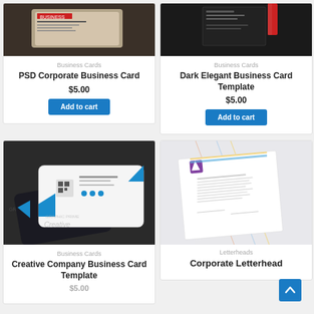[Figure (photo): PSD Corporate Business Card product photo on dark wood surface]
Business Cards
PSD Corporate Business Card
$5.00
Add to cart
[Figure (photo): Dark Elegant Business Card Template photo on dark background with red pen]
Business Cards
Dark Elegant Business Card Template
$5.00
Add to cart
[Figure (photo): Creative Company Business Card Template with blue accents on dark background]
Business Cards
Creative Company Business Card Template
[Figure (photo): Corporate Letterhead template photo showing letterhead document]
Letterheads
Corporate Letterhead